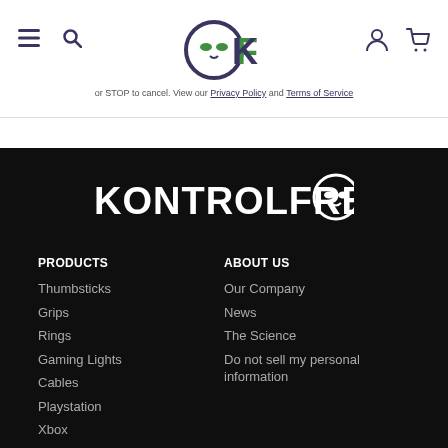KontrolFreek website header with menu, search, logo, user and cart icons
or STOP to cancel. View our Privacy Policy and Terms of Service
[Figure (logo): KontrolFreek large white text logo with controller face icon on dark background]
PRODUCTS
Thumbsticks
Grips
Rings
Gaming Lights
Cables
Playstation
Xbox
ABOUT US
Our Company
News
The Science
Do not sell my personal information